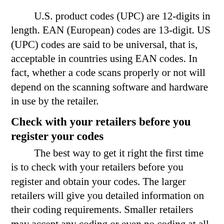U.S. product codes (UPC) are 12-digits in length. EAN (European) codes are 13-digit. US (UPC) codes are said to be universal, that is, acceptable in countries using EAN codes. In fact, whether a code scans properly or not will depend on the scanning software and hardware in use by the retailer.
Check with your retailers before you register your codes
The best way to get it right the first time is to check with your retailers before you register and obtain your codes. The larger retailers will give you detailed information on their coding requirements. Smaller retailers may accept any coding or even no coding at all. But today, packaging without a UPC or EAN may find it difficult to gain retail distribution.